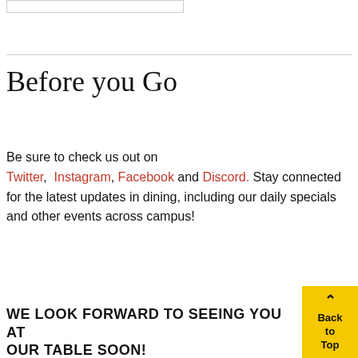[Figure (other): A bordered rectangle at top left, partially visible]
Before you Go
Be sure to check us out on Twitter, Instagram, Facebook and Discord. Stay connected for the latest updates in dining, including our daily specials and other events across campus!
WE LOOK FORWARD TO SEEING YOU AT OUR TABLE SOON!